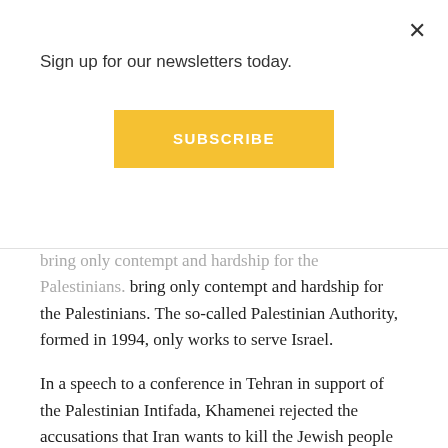Sign up for our newsletters today.
SUBSCRIBE
bring only contempt and hardship for the Palestinians. The so-called Palestinian Authority, formed in 1994, only works to serve Israel.
In a speech to a conference in Tehran in support of the Palestinian Intifada, Khamenei rejected the accusations that Iran wants to kill the Jewish people or wants Islamic countries engaged in military fighting with Israel. On September 30, 2011, he spoke about the referendum again:
The proposal of the Islamic Republic of Iran to solve the Palestinian problem and healing this old wound is rational, clear, and in accordance with the accepted